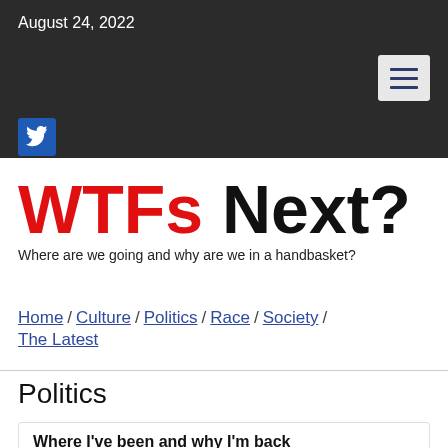August 24, 2022
WTFs Next?
Where are we going and why are we in a handbasket?
Home / Culture / Politics / Race / Society / The Latest
Politics
Where I've been and why I'm back